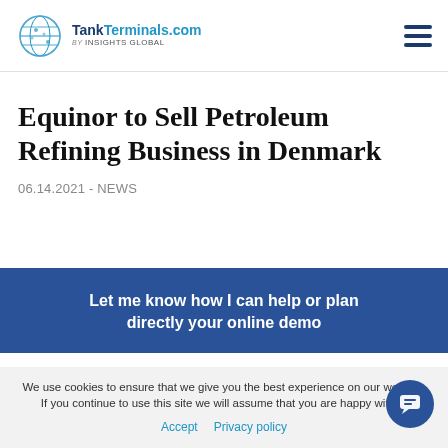TankTerminals.com by INSIGHTS GLOBAL
Equinor to Sell Petroleum Refining Business in Denmark
06.14.2021 - NEWS
Let me know how I can help or plan directly your online demo
We use cookies to ensure that we give you the best experience on our website. If you continue to use this site we will assume that you are happy with it.
Accept   Privacy policy